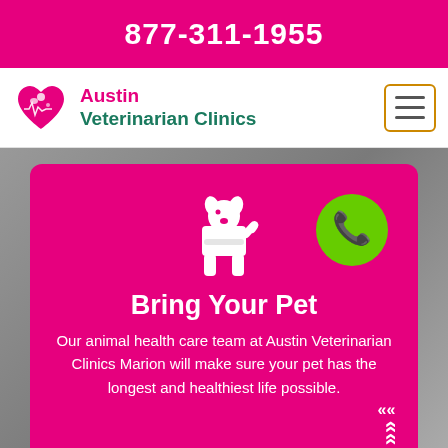877-311-1955
[Figure (logo): Austin Veterinarian Clinics logo with pink heart and dog silhouette]
Bring Your Pet
Our animal health care team at Austin Veterinarian Clinics Marion will make sure your pet has the longest and healthiest life possible.